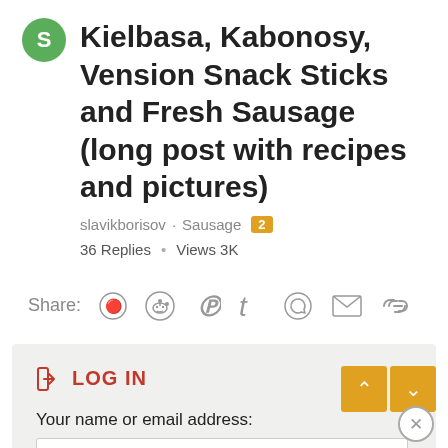Kielbasa, Kabonosy, Vension Snack Sticks and Fresh Sausage (long post with recipes and pictures)
slavikborisov · Sausage  2
36 Replies · Views 3K
Share:
LOG IN
Your name or email address:
Password: